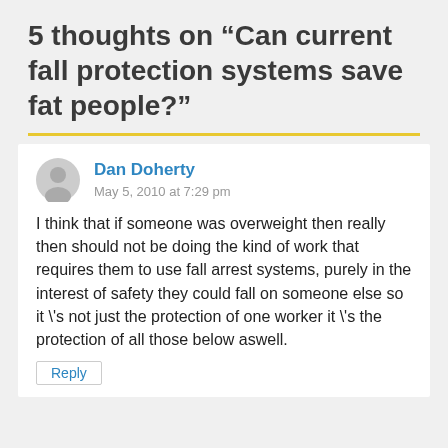5 thoughts on “Can current fall protection systems save fat people?”
Dan Doherty
May 5, 2010 at 7:29 pm

I think that if someone was overweight then really then should not be doing the kind of work that requires them to use fall arrest systems, purely in the interest of safety they could fall on someone else so it \'s not just the protection of one worker it \'s the protection of all those below aswell.